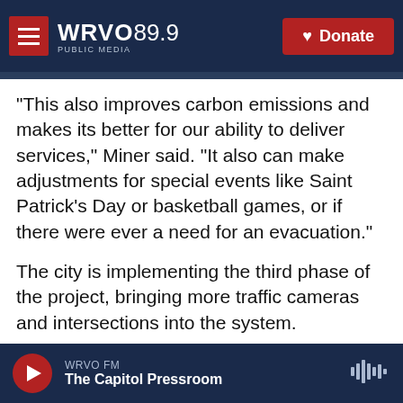WRVO PUBLIC MEDIA 89.9 | Donate
"This also improves carbon emissions and makes its better for our ability to deliver services," Miner said. "It also can make adjustments for special events like Saint Patrick's Day or basketball games, or if there were ever a need for an evacuation."
The city is implementing the third phase of the project, bringing more traffic cameras and intersections into the system.
Tags: Technology | Stephanie Miner | regional news | traffic
WRVO FM — The Capitol Pressroom